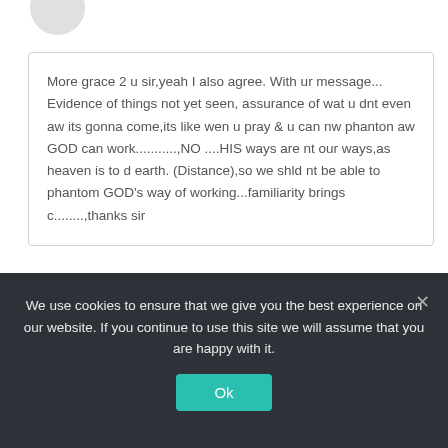More grace 2 u sir,yeah I also agree. With ur message... Evidence of things not yet seen, assurance of wat u dnt even aw its gonna come,its like wen u pray & u can nw phanton aw GOD can work...........,NO ....HIS ways are nt our ways,as heaven is to d earth. (Distance),so we shld nt be able to phantom GOD's way of working...familiarity brings c........,thanks sir
Leave A Reply To Garet Arnold
CANCEL REPLY
We use cookies to ensure that we give you the best experience on our website. If you continue to use this site we will assume that you are happy with it.